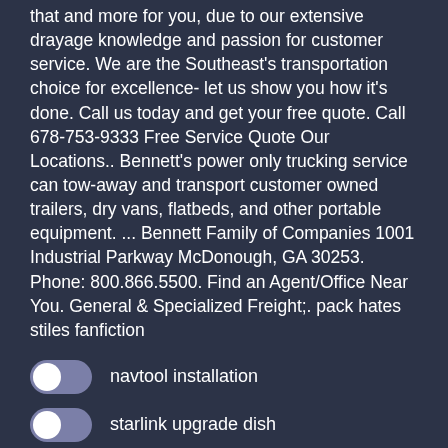that and more for you, due to our extensive drayage knowledge and passion for customer service. We are the Southeast's transportation choice for excellence- let us show you how it's done. Call us today and get your free quote. Call 678-753-9333 Free Service Quote Our Locations.. Bennett's power only trucking service can tow-away and transport customer owned trailers, dry vans, flatbeds, and other portable equipment. ... Bennett Family of Companies 1001 Industrial Parkway McDonough, GA 30253. Phone: 800.866.5500. Find an Agent/Office Near You. General & Specialized Freight;. pack hates stiles fanfiction
navtool installation
starlink upgrade dish
capcom vs snk ultimate mugen 2020 download
Save
Accept All